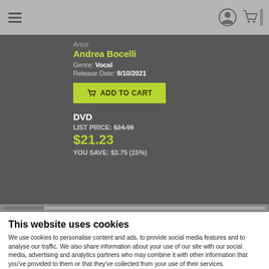Navigation bar with hamburger menu, user icon, and cart icon
Artist: Andrea Bocelli
Genre: Vocal
Release Date: 9/10/2021
ADD TO CART
DVD
LIST PRICE: $24.98
$21.23
YOU SAVE: $3.75 (15%)
This website uses cookies
We use cookies to personalise content and ads, to provide social media features and to analyse our traffic. We also share information about your use of our site with our social media, advertising and analytics partners who may combine it with other information that you've provided to them or that they've collected from your use of their services.
OK
Show details